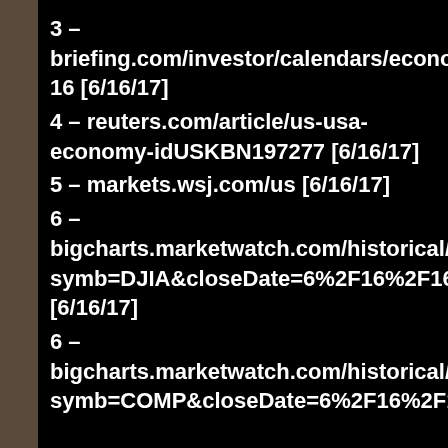3 – briefing.com/investor/calendars/economic/2016 [6/16/17]
4 – reuters.com/article/us-usa-economy-idUSKBN197277 [6/16/17]
5 – markets.wsj.com/us [6/16/17]
6 – bigcharts.marketwatch.com/historical/default symb=DJIA&closeDate=6%2F16%2F16&x=0& [6/16/17]
6 – bigcharts.marketwatch.com/historical/default symb=COMP&closeDate=6%2F16%2F16&x=